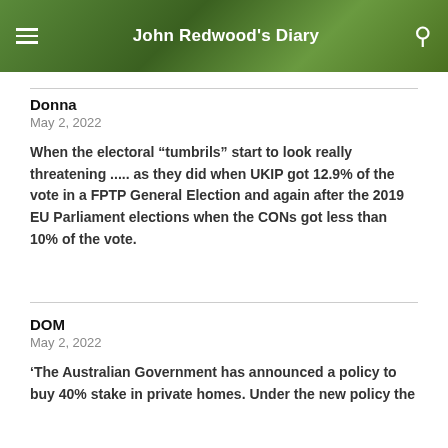John Redwood's Diary
Donna
May 2, 2022
When the electoral “tumbrils” start to look really threatening ..... as they did when UKIP got 12.9% of the vote in a FPTP General Election and again after the 2019 EU Parliament elections when the CONs got less than 10% of the vote.
DOM
May 2, 2022
‘The Australian Government has announced a policy to buy 40% stake in private homes. Under the new policy the